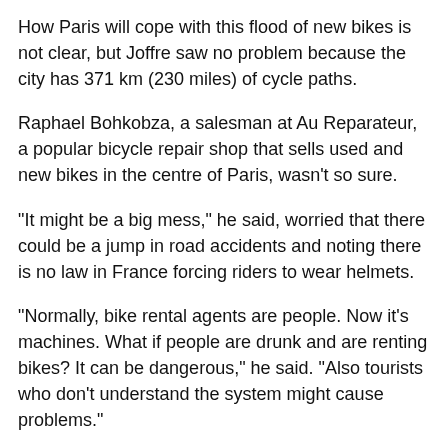How Paris will cope with this flood of new bikes is not clear, but Joffre saw no problem because the city has 371 km (230 miles) of cycle paths.
Raphael Bohkobza, a salesman at Au Reparateur, a popular bicycle repair shop that sells used and new bikes in the centre of Paris, wasn't so sure.
"It might be a big mess," he said, worried that there could be a jump in road accidents and noting there is no law in France forcing riders to wear helmets.
"Normally, bike rental agents are people. Now it's machines. What if people are drunk and are renting bikes? It can be dangerous," he said. "Also tourists who don't understand the system might cause problems."
CRAZY ABOUT BIKES
In 2006, France was the fourth largest cycle-buying country in the world, according to the National Council of Professional Cyclists. Part of that may be a "Tour de France